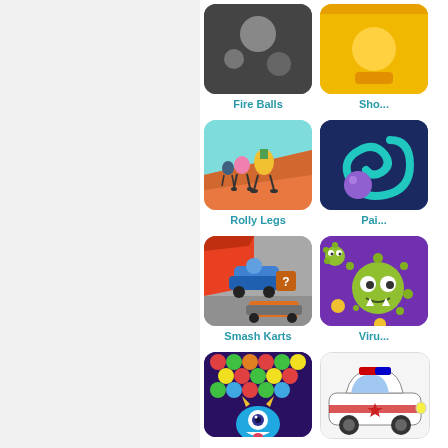[Figure (screenshot): Fire Balls game thumbnail - dark background with balls]
Fire Balls
[Figure (screenshot): Sho... game thumbnail - yellow background, partially visible]
Sho...
[Figure (screenshot): Rolly Legs game thumbnail - cartoon characters with legs on ramp]
Rolly Legs
[Figure (screenshot): Pai... game thumbnail - dark blue with teal swirl and purple ball]
Pai...
[Figure (screenshot): Smash Karts game thumbnail - kart racing game screenshot]
Smash Karts
[Figure (screenshot): Viru... game thumbnail - green virus characters on purple]
Viru...
[Figure (screenshot): Bubble shooter game thumbnail - blue monster with colorful bubbles]
[Figure (screenshot): Police car game thumbnail - cartoon police car illustration]